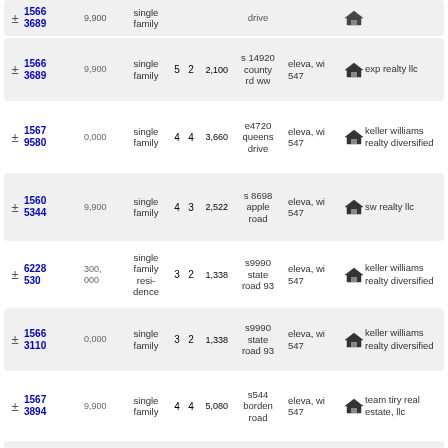± 15663689 $9,900 single family 5 2 2,100 s 14920 county rd ww eleva, wi 54738 exp realty llc
± 15679580 $0,000 single family 4 4 3,660 e4720 queens drive eleva, wi 54738 keller williams realty diversified
± 15605344 $9,900 single family 4 3 2,522 s 8698 apple road eleva, wi 54747 sw realty llc
± 6228530 $300,000 single family residence 3 2 1,338 s9990 state road 93 eleva, wi 54738 keller williams realty diversified
± 15663110 $0,000 single family 3 2 1,338 s9990 state road 93 eleva, wi 54738 keller williams realty diversified
± 15673894 $9,900 single family 4 4 5,080 s544 borden road eleva, wi 54738 team tiry real estate, llc
± 15643495 $5,000 single family 3 1 1,250 s 12840 county road b eleva, wi 54738 prime realty/mondovi